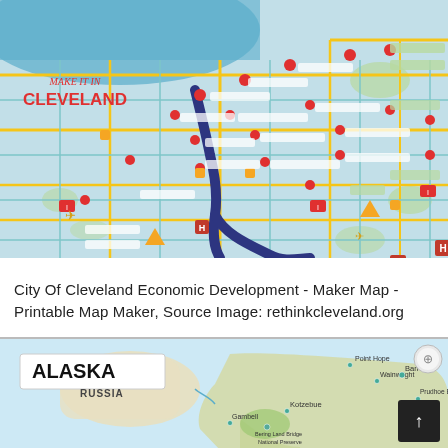[Figure (map): City of Cleveland Maker Map infographic styled as a transit/subway map. Shows streets, neighborhoods, and maker businesses as colored icons on a light teal background with navy river, yellow roads, and red/orange location markers. Text 'MAKE IT IN CLEVELAND' appears in the upper left in red cursive and bold lettering.]
City Of Cleveland Economic Development - Maker Map - Printable Map Maker, Source Image: rethinkcleveland.org
[Figure (map): Map of Alaska showing state outline with Russia to the west. Labels include ALASKA, RUSSIA, Point Hope, Wainwright, Barrow, Gambell, Kotzebue, Bering Land Bridge National Preserve, Prudhoe Bay, and others. Map has light blue background (water), green/tan land masses, and a compass/navigation icon in upper right. A dark scroll-to-top button appears in lower right.]